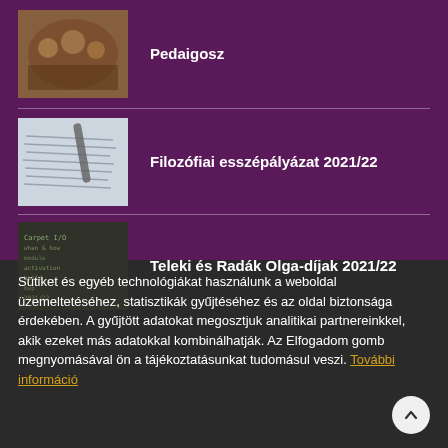[Figure (photo): Thumbnail image of a group performance or choir scene]
Pedaigosz
[Figure (photo): Thumbnail image of handwriting on paper]
Filozófiai esszépályázat 2021/22
[Figure (photo): Thumbnail image of a chalkboard with writing]
Teleki és Radák Olga-díjak 2021/22
Sütiket és egyéb technológiákat használunk a weboldal üzemeltetéséhez, statisztikák gyűjtéséhez és az oldal biztonsága érdekében. A gyűjtött adatokat megosztjuk analitikai partnereinkkel, akik ezeket más adatokkal kombinálhatják. Az Elfogadom gomb megnyomásával ön a tájékoztatásunkat tudomásul veszi. További információ
Elfogadom